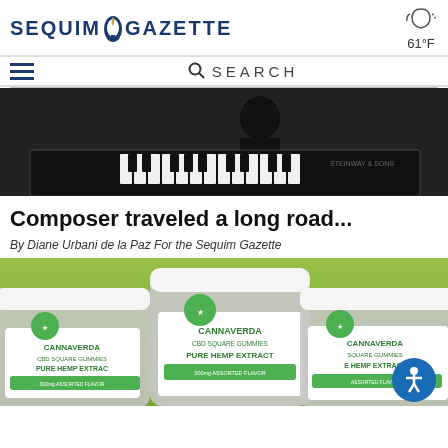SEQUIM GAZETTE  61°F
[Figure (screenshot): Navigation bar with hamburger menu and search bar]
[Figure (photo): Person at a Steinway piano, dark clothing, dark background]
Composer traveled a long road...
By Diane Urbani de la Paz For the Sequim Gazette
[Figure (photo): Three jars of CannaVerda CBD Square Gummies Pure Hemp Extract 300mg Assorted Flavor on green background, with accessibility icon button in bottom right]